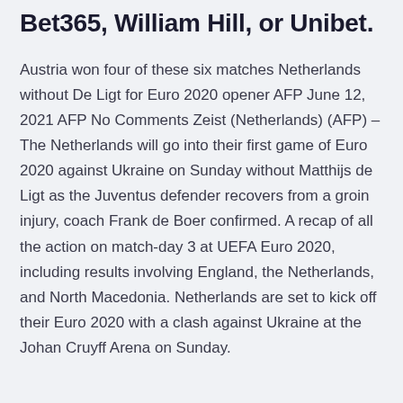Bet365, William Hill, or Unibet.
Austria won four of these six matches Netherlands without De Ligt for Euro 2020 opener AFP June 12, 2021 AFP No Comments Zeist (Netherlands) (AFP) – The Netherlands will go into their first game of Euro 2020 against Ukraine on Sunday without Matthijs de Ligt as the Juventus defender recovers from a groin injury, coach Frank de Boer confirmed. A recap of all the action on match-day 3 at UEFA Euro 2020, including results involving England, the Netherlands, and North Macedonia. Netherlands are set to kick off their Euro 2020 with a clash against Ukraine at the Johan Cruyff Arena on Sunday.